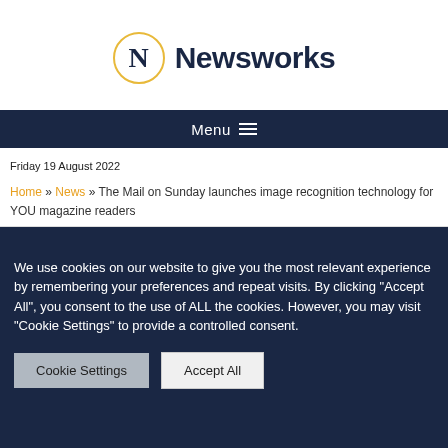[Figure (logo): Newsworks logo: circle with N letter and Newsworks wordmark]
Menu
Friday 19 August 2022
Home » News » The Mail on Sunday launches image recognition technology for YOU magazine readers
We use cookies on our website to give you the most relevant experience by remembering your preferences and repeat visits. By clicking "Accept All", you consent to the use of ALL the cookies. However, you may visit "Cookie Settings" to provide a controlled consent.
Cookie Settings | Accept All